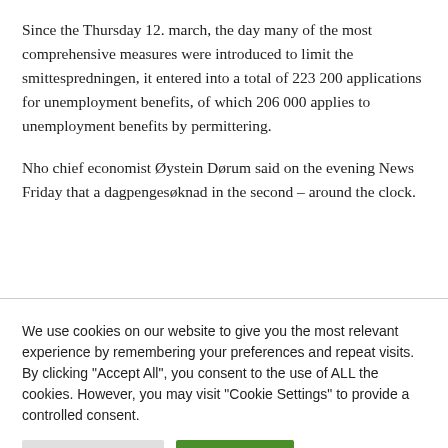Since the Thursday 12. march, the day many of the most comprehensive measures were introduced to limit the smittespredningen, it entered into a total of 223 200 applications for unemployment benefits, of which 206 000 applies to unemployment benefits by permittering.
Nho chief economist Øystein Dørum said on the evening News Friday that a dagpengesøknad in the second – around the clock.
We use cookies on our website to give you the most relevant experience by remembering your preferences and repeat visits. By clicking "Accept All", you consent to the use of ALL the cookies. However, you may visit "Cookie Settings" to provide a controlled consent.